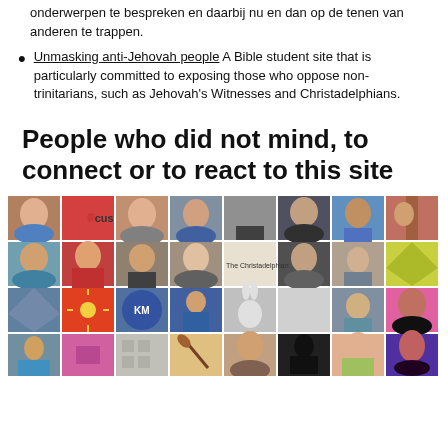onderwerpen te bespreken en daarbij nu en dan op de tenen van anderen te trappen.
Unmasking anti-Jehovah people A Bible student site that is particularly committed to exposing those who oppose non-trinitarians, such as Jehovah's Witnesses and Christadelphians.
People who did not mind, to connect or to react to this site
[Figure (photo): Grid of profile photos and avatars of various people who connected or reacted to the site, arranged in 4 rows of 8 images each.]